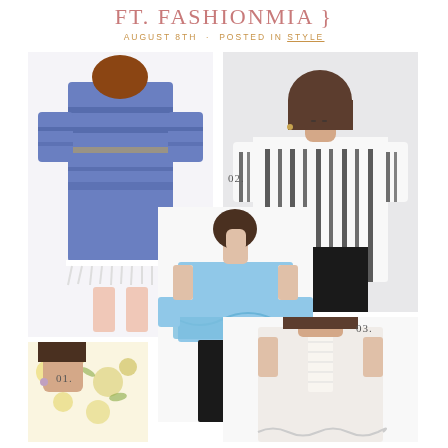FT. FASHIONMIA }
AUGUST 8TH · POSTED IN STYLE
[Figure (photo): Back view of woman wearing blue floral printed babydoll dress with tassel hem and 3/4 bell sleeves, numbered 01]
[Figure (photo): Woman wearing off-shoulder striped black and white top with tie sleeves, numbered 02]
[Figure (photo): Woman wearing light blue cold-shoulder ruffled crop top with black pants, numbered 03]
[Figure (photo): Partial view of woman in floral yellow and white outfit at bottom left]
[Figure (photo): Woman in white lace top viewed from behind at bottom right]